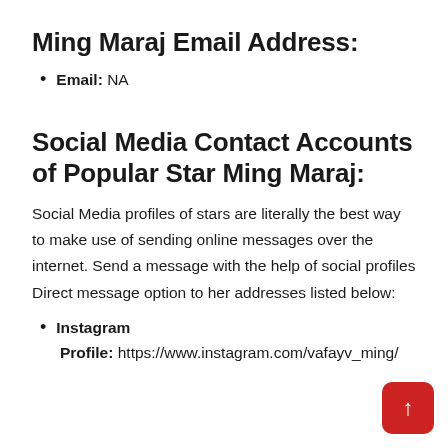Ming Maraj Email Address:
Email: NA
Social Media Contact Accounts of Popular Star Ming Maraj:
Social Media profiles of stars are literally the best way to make use of sending online messages over the internet. Send a message with the help of social profiles Direct message option to her addresses listed below:
Instagram
Profile: https://www.instagram.com/vafayv_ming/